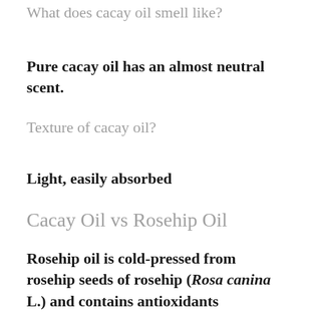What does cacay oil smell like?
Pure cacay oil has an almost neutral scent.
Texture of cacay oil?
Light, easily absorbed
Cacay Oil vs Rosehip Oil
Rosehip oil is cold-pressed from rosehip seeds of rosehip (Rosa canina L.) and contains antioxidants (tocopherols and carotenoids.) , phenolic acids (p-coumaric acid methyl ester, vanillin, and vanillic acid)